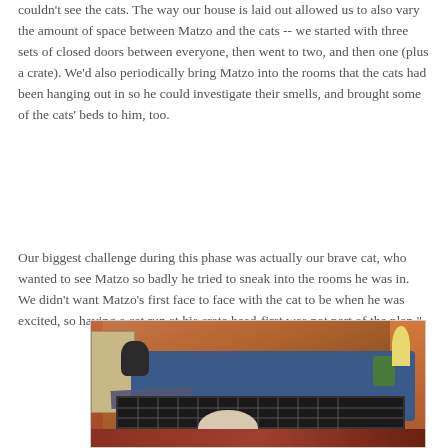couldn't see the cats. The way our house is laid out allowed us to also vary the amount of space between Matzo and the cats -- we started with three sets of closed doors between everyone, then went to two, and then one (plus a crate). We'd also periodically bring Matzo into the rooms that the cats had been hanging out in so he could investigate their smells, and brought some of the cats' beds to him, too.
Our biggest challenge during this phase was actually our brave cat, who wanted to see Matzo so badly he tried to sneak into the rooms he was in. We didn't want Matzo's first face to face with the cat to be when he was excited, so having a cat run at his crate head-first was not part of the plan."
[Figure (photo): A photo of a cat sitting on top of a dog crate in a living room. Inside the crate appears to be a dog (Matzo). The room has orange/red curtains, a blue sofa, a bookshelf on the left, and a rug on the floor.]